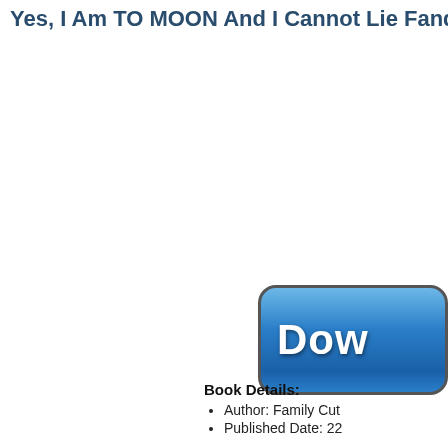Yes, I Am TO MOON And I Cannot Lie Fandom 7.44
[Figure (other): Blue download button with rounded corners and gradient, showing text 'Dow' (partially cropped)]
Book Details:
Author: Family Cut
Published Date: 22